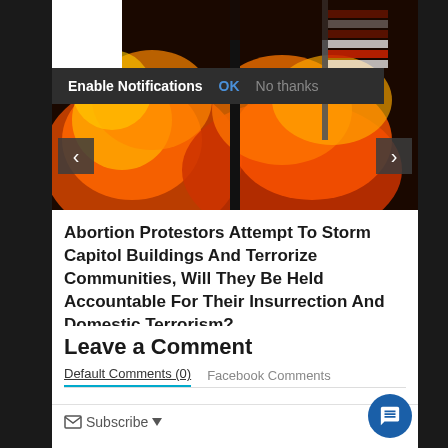[Figure (photo): A fire scene with an American flag visible against flames and dark background. Carousel navigation arrows on left and right sides. A browser notification bar overlay reading 'Enable Notifications OK No thanks'.]
Abortion Protestors Attempt To Storm Capitol Buildings And Terrorize Communities, Will They Be Held Accountable For Their Insurrection And Domestic Terrorism?
Opinions & Perspectives, Politics   June 25, 2022
Leave a Comment
Default Comments (0)   Facebook Comments
Subscribe   Login